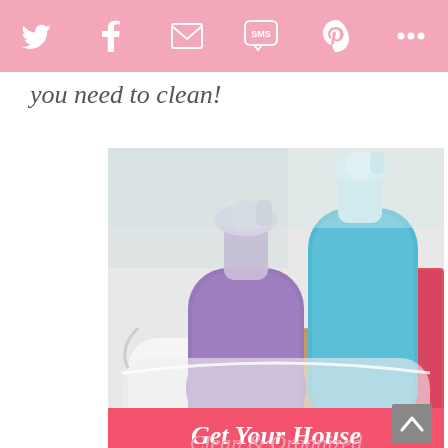[Social share bar: Twitter, Facebook, Email, SMS, Pinterest, More]
you need to clean!
[Figure (photo): Two spray bottles of cleaning solution (purple and blue) in a white caddy with sponges and a pink cloth]
Get Your House Clean & Organized